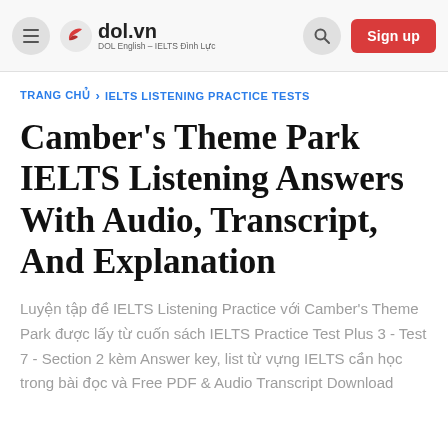dol.vn — DOL English – IELTS Đình Lực | Sign up
TRANG CHỦ > IELTS LISTENING PRACTICE TESTS
Camber's Theme Park IELTS Listening Answers With Audio, Transcript, And Explanation
Luyện tập đề IELTS Listening Practice với Camber's Theme Park được lấy từ cuốn sách IELTS Practice Test Plus 3 - Test 7 - Section 2 kèm Answer key, list từ vựng IELTS cần học trong bài đọc và Free PDF & Audio Transcript Download